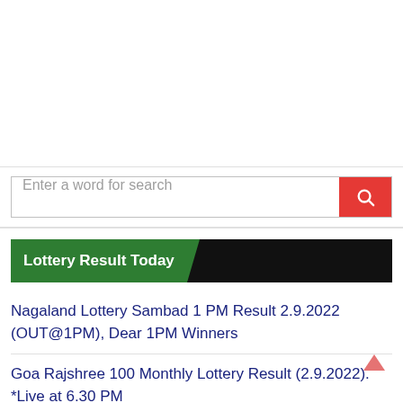[Figure (other): White blank space at top of page (advertisement area)]
Enter a word for search
Lottery Result Today
Nagaland Lottery Sambad 1 PM Result 2.9.2022 (OUT@1PM), Dear 1PM Winners
Goa Rajshree 100 Monthly Lottery Result (2.9.2022). *Live at 6.30 PM